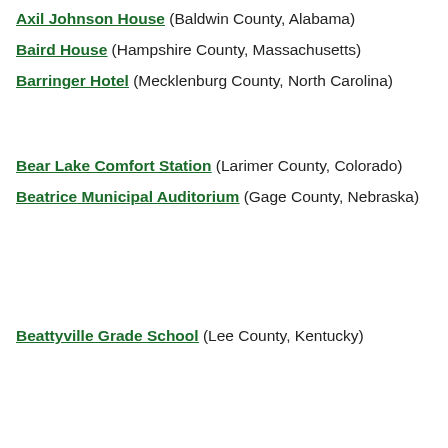Axil Johnson House (Baldwin County, Alabama)
Baird House (Hampshire County, Massachusetts)
Barringer Hotel (Mecklenburg County, North Carolina)
Bear Lake Comfort Station (Larimer County, Colorado)
Beatrice Municipal Auditorium (Gage County, Nebraska)
Beattyville Grade School (Lee County, Kentucky)